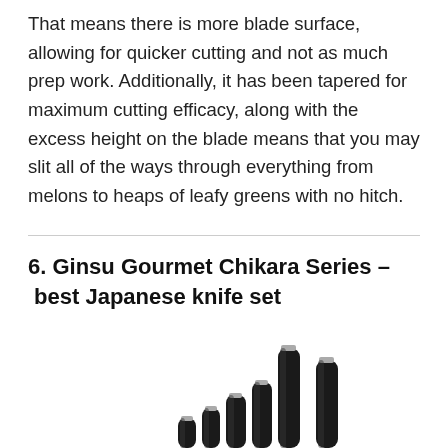That means there is more blade surface, allowing for quicker cutting and not as much prep work. Additionally, it has been tapered for maximum cutting efficacy, along with the excess height on the blade means that you may slit all of the ways through everything from melons to heaps of leafy greens with no hitch.
6. Ginsu Gourmet Chikara Series – best Japanese knife set
[Figure (photo): Photo of Ginsu Gourmet Chikara Series knife set showing multiple black-handled knives of varying sizes arranged in a row, displayed handles-up against a white background.]